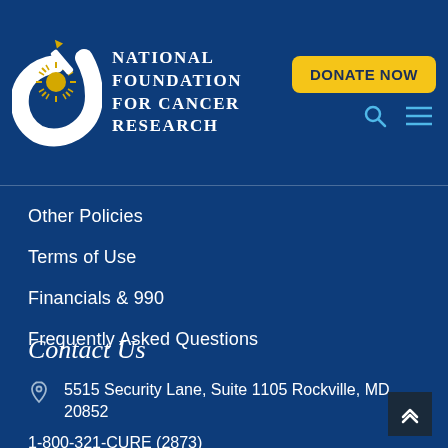[Figure (logo): National Foundation for Cancer Research logo with pen/candle and starburst icon on dark blue background]
DONATE NOW
Other Policies
Terms of Use
Financials & 990
Frequently Asked Questions
Contact Us
5515 Security Lane, Suite 1105 Rockville, MD 20852
1-800-321-CURE (2873)